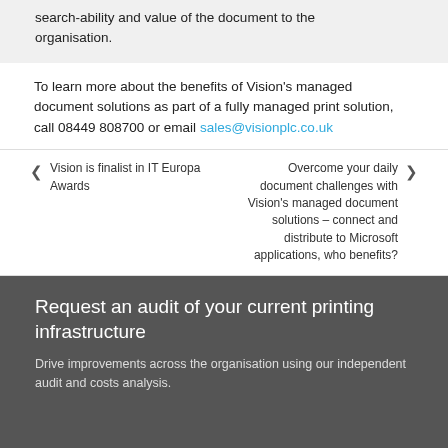search-ability and value of the document to the organisation.
To learn more about the benefits of Vision’s managed document solutions as part of a fully managed print solution, call 08449 808700 or email sales@visionplc.co.uk
❮ Vision is finalist in IT Europa Awards
Overcome your daily document challenges with Vision’s managed document solutions – connect and distribute to Microsoft applications, who benefits? ❯
Request an audit of your current printing infrastructure
Drive improvements across the organisation using our independent audit and costs analysis.